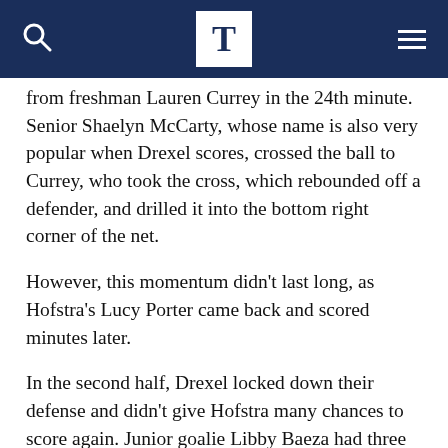T
from freshman Lauren Currey in the 24th minute. Senior Shaelyn McCarty, whose name is also very popular when Drexel scores, crossed the ball to Currey, who took the cross, which rebounded off a defender, and drilled it into the bottom right corner of the net.
However, this momentum didn't last long, as Hofstra's Lucy Porter came back and scored minutes later.
In the second half, Drexel locked down their defense and didn't give Hofstra many chances to score again. Junior goalie Libby Baeza had three saves and due to this heavy defense, Drexel was able to give pressure on offense and finally got the equalizer in the 84th minute. It was Currey again this time, and after getting a touch deep in Hofstra's territory, she buried the ball in the